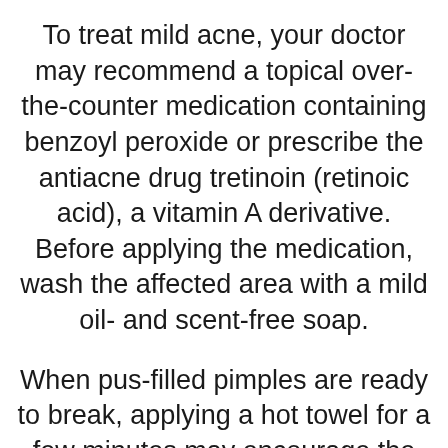To treat mild acne, your doctor may recommend a topical over-the-counter medication containing benzoyl peroxide or prescribe the antiacne drug tretinoin (retinoic acid), a vitamin A derivative. Before applying the medication, wash the affected area with a mild oil- and scent-free soap.
When pus-filled pimples are ready to break, applying a hot towel for a few minutes may encourage the process. Infected pimples should be opened only